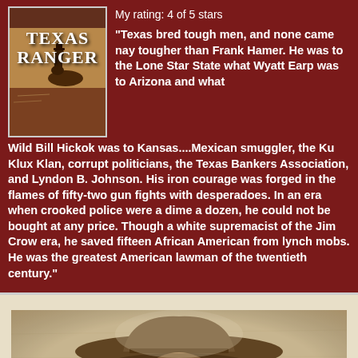[Figure (illustration): Book cover of 'Texas Ranger' by John Boessenecker showing a cowboy on horseback]
My rating: 4 of 5 stars
“Texas bred tough men, and none came nay tougher than Frank Hamer. He was to the Lone Star State what Wyatt Earp was to Arizona and what Wild Bill Hickok was to Kansas....Mexican smuggler, the Ku Klux Klan, corrupt politicians, the Texas Bankers Association, and Lyndon B. Johnson. His iron courage was forged in the flames of fifty-two gun fights with desperadoes. In an era when crooked police were a dime a dozen, he could not be bought at any price. Though a white supremacist of the Jim Crow era, he saved fifteen African American from lynch mobs. He was the greatest American lawman of the twentieth century.”
[Figure (photo): Sepia-toned portrait photograph of a person wearing a wide-brimmed cowboy hat, viewed from slightly above]